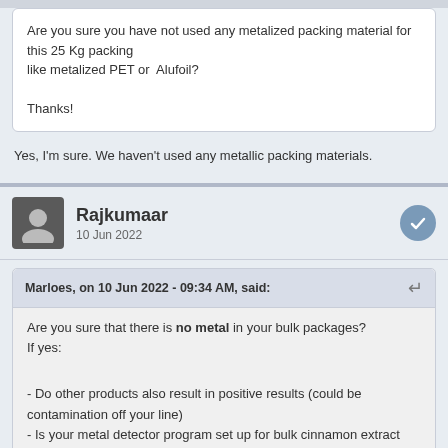Are you sure you have not used any metalized packing material for this 25 Kg packing like metalized PET or Alufoil?

Thanks!
Yes, I'm sure. We haven't used any metallic packing materials.
Rajkumaar
10 Jun 2022
Marloes, on 10 Jun 2022 - 09:34 AM, said:
Are you sure that there is no metal in your bulk packages?
If yes:

- Do other products also result in positive results (could be contamination off your line)
- Is your metal detector program set up for bulk cinnamon extract (product composition could lead to positive results on the wrong program)
You could check if smaller amounts of cinnamon extract also fail your metal detector. If smaller amounts do not, you can run previously